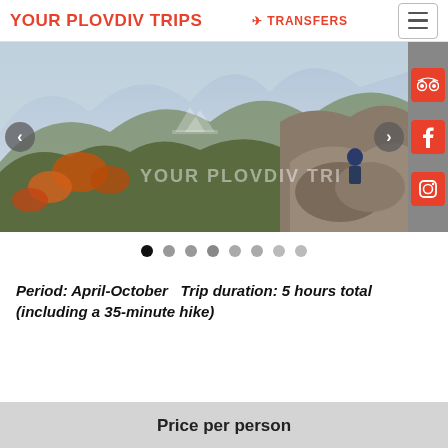YOUR PLOVDIV TRIPS   ✈TRANSFERS
[Figure (photo): Mountain landscape with autumn foliage, rocks, and a person sitting on a boulder. Overlaid with 'YOUR PLOVDIV TRIPS' watermark logo. Navigation arrows on left and right. Social media icons (TripAdvisor, Facebook, Instagram) on the far right edge.]
Period: April-October   Trip duration: 5 hours total (including a 35-minute hike)
Price per person